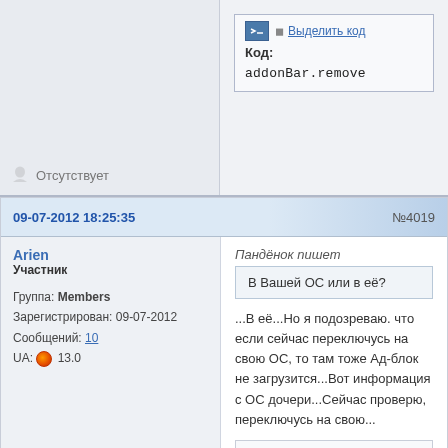[Figure (screenshot): Code box with header showing code icon and 'Выделить код' link, label 'Код:', and code text 'addonBar.remove']
Отсутствует
09-07-2012 18:25:35
№4019
Arien
Участник
Группа: Members
Зарегистрирован: 09-07-2012
Сообщений: 10
UA: 🔥 13.0
Пандёнок пишет
В Вашей ОС или в её?
...В её...Но я подозреваю. что если сейчас переключусь на свою ОС, то там тоже Ад-блок не загрузится...Вот информация с ОС дочери...Сейчас проверю, переключусь на свою...
скрытый текст